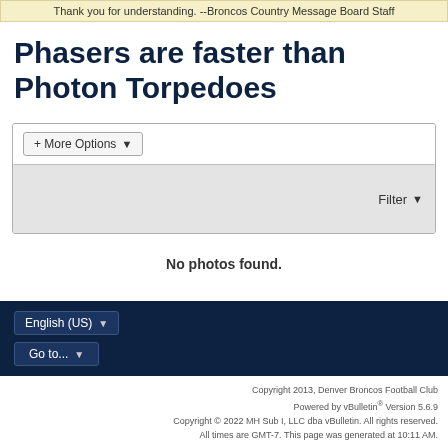Thank you for understanding. --Broncos Country Message Board Staff
Phasers are faster than Photon Torpedoes
[Figure (screenshot): Search interface with '+ More Options' dropdown button on top row and 'Filter' dropdown button on bottom row with grey background]
No photos found.
English (US) | Go to...
Copyright 2013, Denver Broncos Football Club
Powered by vBulletin® Version 5.6.9
Copyright © 2022 MH Sub I, LLC dba vBulletin. All rights reserved.
All times are GMT-7. This page was generated at 10:11 AM.